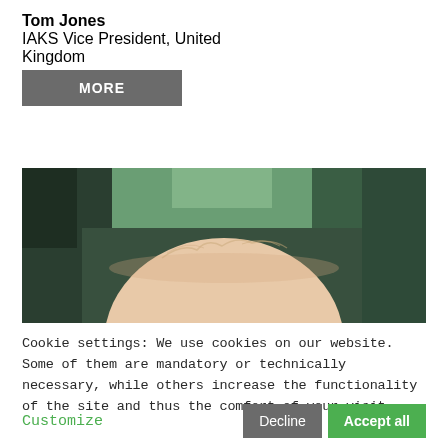Tom Jones
IAKS Vice President, United Kingdom
MORE
[Figure (photo): Close-up photograph of the top of a man's head with gray/white hair, blurred green and dark background.]
Cookie settings: We use cookies on our website. Some of them are mandatory or technically necessary, while others increase the functionality of the site and thus the comfort of your visit.
Customize
Decline
Accept all